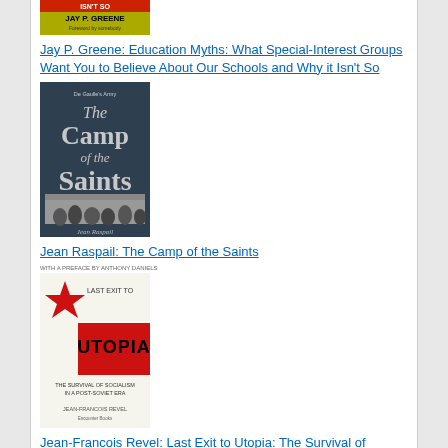[Figure (illustration): Book cover of Jay P. Greene: Education Myths]
Jay P. Greene: Education Myths: What Special-Interest Groups Want You to Believe About Our Schools and Why it Isn't So
[Figure (illustration): Book cover of Jean Raspail: The Camp of the Saints]
Jean Raspail: The Camp of the Saints
[Figure (illustration): Book cover of Jean-Francois Revel: Last Exit to Utopia: The Survival of Socialism in a Post-Soviet Era]
Jean-Francois Revel: Last Exit to Utopia: The Survival of Socialism in a Post-Soviet Era